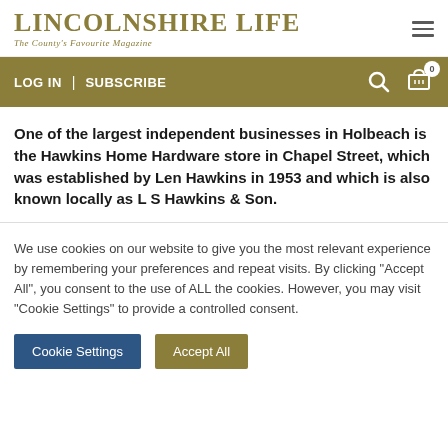LINCOLNSHIRE LIFE — The County's Favourite Magazine
LOG IN | SUBSCRIBE
One of the largest independent businesses in Holbeach is the Hawkins Home Hardware store in Chapel Street, which was established by Len Hawkins in 1953 and which is also known locally as L S Hawkins & Son.
We use cookies on our website to give you the most relevant experience by remembering your preferences and repeat visits. By clicking "Accept All", you consent to the use of ALL the cookies. However, you may visit "Cookie Settings" to provide a controlled consent.